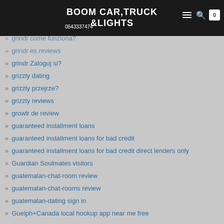BOOM CAR, TRUCK & LIGHTS | 0643337474
grindr come funziona?
grindr es reviews
grindr Zaloguj si?
grizzly dating
grizzly przejrze?
grizzly reviews
growlr de review
guaranteed installment loans
guaranteed installment loans for bad credit
guaranteed installment loans for bad credit direct lenders only
Guardian Soulmates visitors
guatemalan-chat-room review
guatemalan-chat-rooms review
guatemalan-dating sign in
Guelph+Canada local hookup app near me free